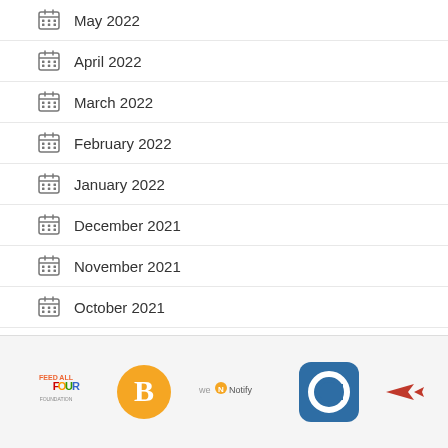May 2022
April 2022
March 2022
February 2022
January 2022
December 2021
November 2021
October 2021
September 2021
August 2021
May 2021
[Figure (logo): Footer bar with five logos: Feed All Four, B (orange circle), we Notify, C (blue rounded square), and a small red fish/arrow icon]